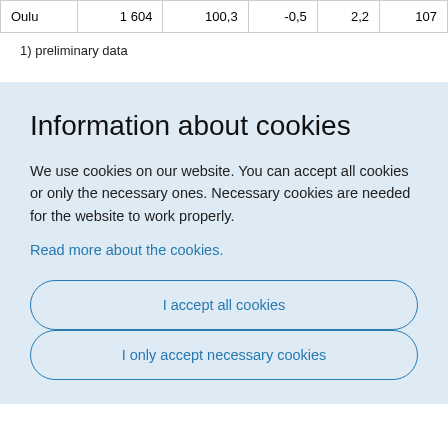| Oulu | 1 604 | 100,3 | -0,5 | 2,2 | 107 |
1) preliminary data
Information about cookies
We use cookies on our website. You can accept all cookies or only the necessary ones. Necessary cookies are needed for the website to work properly.
Read more about the cookies.
I accept all cookies
I only accept necessary cookies